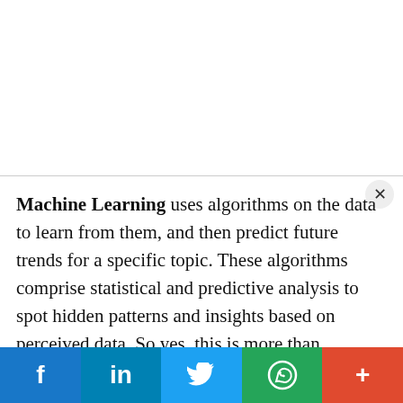Machine Learning uses algorithms on the data to learn from them, and then predict future trends for a specific topic. These algorithms comprise statistical and predictive analysis to spot hidden patterns and insights based on perceived data. So yes, this is more than performing Data Mining in an automated way.
All of the above have plenty of possibilities and areas of application. However, one of the most interesting fields in this regard is Artificial Intelligence. Artificial Intelligence (AI) is a discipline oriented to develop machines able to carry out tasks that are characteristic of